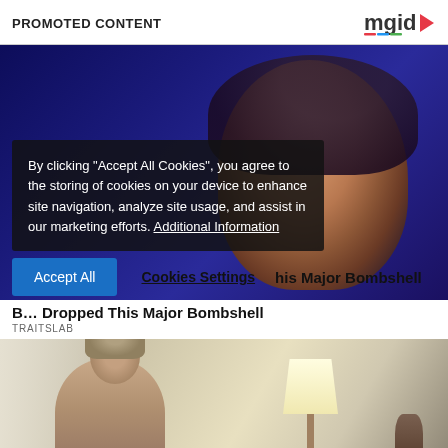PROMOTED CONTENT
[Figure (photo): Close-up photo of a woman's face against a dark blue background, with a dark semi-transparent cookie consent overlay on the left side.]
By clicking "Accept All Cookies", you agree to the storing of cookies on your device to enhance site navigation, analyze site usage, and assist in our marketing efforts. Additional Information
B... Dropped This Major Bombshell
TRAITSLAB
[Figure (photo): Photo of a woman sitting indoors, with a lamp and vase visible in the background.]